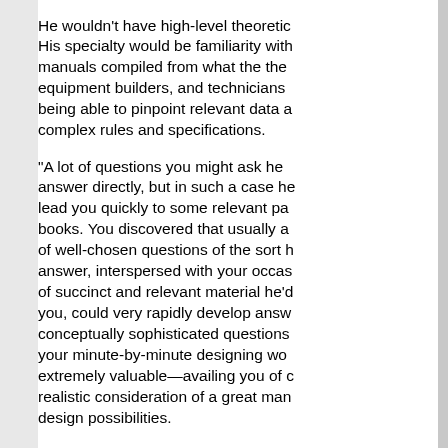He wouldn't have high-level theoretical knowledge. His specialty would be familiarity with manuals compiled from what the theoreticians, equipment builders, and technicians had worked out—being able to pinpoint relevant data and navigate complex rules and specifications.
"A lot of questions you might ask he could answer directly, but in such a case he could lead you quickly to some relevant passage in books. You discovered that usually a few minutes of well-chosen questions of the sort he could answer, interspersed with your occasional reading of succinct and relevant material he'd flag for you, could very rapidly develop answers to conceptually sophisticated questions that arose in your minute-by-minute designing work. This was extremely valuable—availing you of discriminating realistic consideration of a great many real-world design possibilities.
"Similarly, when it came to carrying out some set of operations, it turned out that he could carry out all of the processes for you—could manage complex rules and procedures beautifully, but he would break down when it came to steps that required what you might call a large view of the situation. But this w